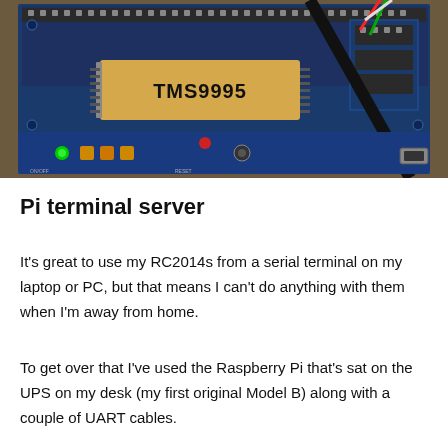[Figure (photo): Photo of a TMS9995 microprocessor chip mounted on a blue RC2014 computer board with breadboard connectors, capacitors, LEDs, buttons, and wires visible. The chip has a white label reading 'TMS9995'.]
Pi terminal server
It's great to use my RC2014s from a serial terminal on my laptop or PC, but that means I can't do anything with them when I'm away from home.
To get over that I've used the Raspberry Pi that's sat on the UPS on my desk (my first original Model B) along with a couple of UART cables.